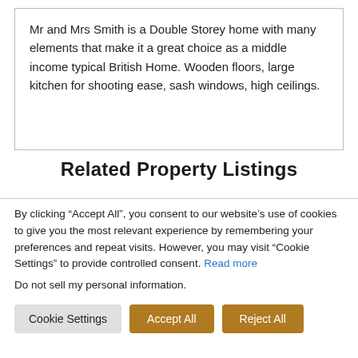Mr and Mrs Smith is a Double Storey home with many elements that make it a great choice as a middle income typical British Home. Wooden floors, large kitchen for shooting ease, sash windows, high ceilings.
Related Property Listings
By clicking “Accept All”, you consent to our website’s use of cookies to give you the most relevant experience by remembering your preferences and repeat visits. However, you may visit “Cookie Settings” to provide controlled consent. Read more
Do not sell my personal information.
Cookie Settings | Accept All | Reject All